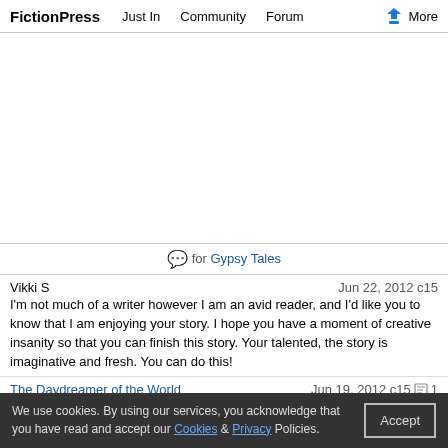FictionPress   Just In   Community   Forum   More
[Figure (other): Advertisement area (blank white space)]
💬 for Gypsy Tales
Vikki S   Jun 22, 2012 c15
I'm not much of a writer however I am an avid reader, and I'd like you to know that I am enjoying your story. I hope you have a moment of creative insanity so that you can finish this story. Your talented, the story is imaginative and fresh. You can do this!
The Daydreamer of the World   Jun 19, 2012 c15  1
Another one of your stories I have fallen in love with!
unknown   Jun 13, 2012 c14
I love your story and I hope you get over your writers block soon.
C.Turtle   Jun 5, 2012 c1
Wow, can't wait for more
Vikki S   Jun 3, 2012 c12
We use cookies. By using our services, you acknowledge that you have read and accept our Cookies & Privacy Policies.   Accept